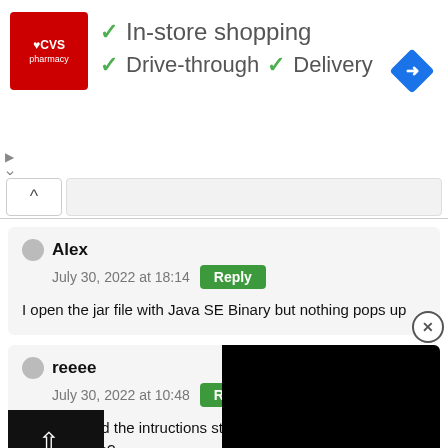[Figure (screenshot): CVS Pharmacy advertisement banner with checkmarks for In-store shopping, Drive-through, and Delivery features, with a navigation diamond icon on the right.]
Alex
July 30, 2022 at 18:14
I open the jar file with Java SE Binary but nothing pops up
reeee
July 30, 2022 at 10:48
I did followed the intructions ste... s a version?